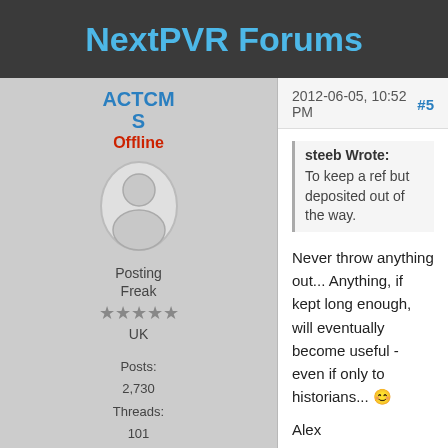NextPVR Forums
ACTCMS
Offline
[Figure (illustration): Default user avatar silhouette in oval frame]
Posting Freak
★★★★
UK
Posts: 2,730
Threads: 101
Joined: Jun
2012-06-05, 10:52 PM
#5
steeb Wrote:
To keep a ref but deposited out of the way.
Never throw anything out... Anything, if kept long enough, will eventually become useful - even if only to historians... 😊

Alex